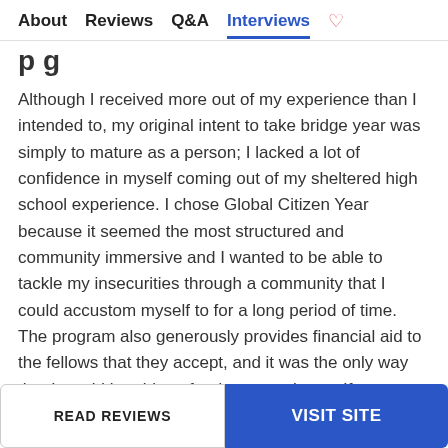About  Reviews  Q&A  Interviews
Although I received more out of my experience than I intended to, my original intent to take bridge year was simply to mature as a person; I lacked a lot of confidence in myself coming out of my sheltered high school experience. I chose Global Citizen Year because it seemed the most structured and community immersive and I wanted to be able to tackle my insecurities through a community that I could accustom myself to for a long period of time. The program also generously provides financial aid to the fellows that they accept, and it was the only way that I would be able to fund an experience. If
READ REVIEWS
VISIT SITE